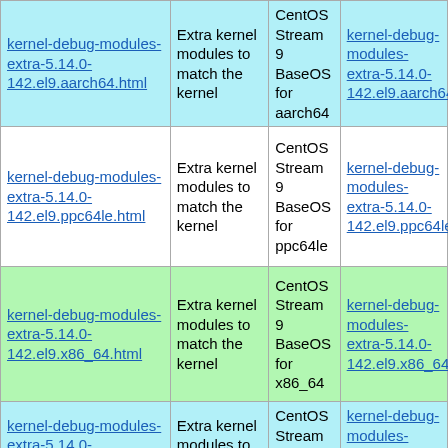| Package | Description | Repository | Download |
| --- | --- | --- | --- |
| kernel-debug-modules-extra-5.14.0-142.el9.aarch64.html | Extra kernel modules to match the kernel | CentOS Stream 9 BaseOS for aarch64 | kernel-debug-modules-extra-5.14.0-142.el9.aarch64.rpm |
| kernel-debug-modules-extra-5.14.0-142.el9.ppc64le.html | Extra kernel modules to match the kernel | CentOS Stream 9 BaseOS for ppc64le | kernel-debug-modules-extra-5.14.0-142.el9.ppc64le.rpm |
| kernel-debug-modules-extra-5.14.0-142.el9.x86_64.html | Extra kernel modules to match the kernel | CentOS Stream 9 BaseOS for x86_64 | kernel-debug-modules-extra-5.14.0-142.el9.x86_64.rpm |
| kernel-debug-modules-extra-5.14.0-134.el9.aarch64.html | Extra kernel modules to match the kernel (partial) | CentOS Stream 9 BaseOS | kernel-debug-modules-extra-5.14.0-134.el9.aarch64.rpm |